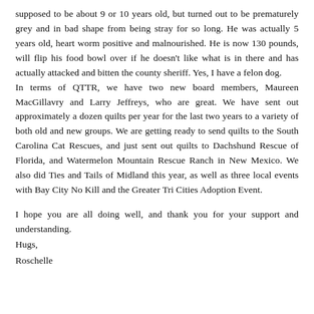supposed to be about 9 or 10 years old, but turned out to be prematurely grey and in bad shape from being stray for so long. He was actually 5 years old, heart worm positive and malnourished. He is now 130 pounds, will flip his food bowl over if he doesn't like what is in there and has actually attacked and bitten the county sheriff. Yes, I have a felon dog.
In terms of QTTR, we have two new board members, Maureen MacGillavry and Larry Jeffreys, who are great. We have sent out approximately a dozen quilts per year for the last two years to a variety of both old and new groups. We are getting ready to send quilts to the South Carolina Cat Rescues, and just sent out quilts to Dachshund Rescue of Florida, and Watermelon Mountain Rescue Ranch in New Mexico. We also did Ties and Tails of Midland this year, as well as three local events with Bay City No Kill and the Greater Tri Cities Adoption Event.
I hope you are all doing well, and thank you for your support and understanding.
Hugs,
Roschelle